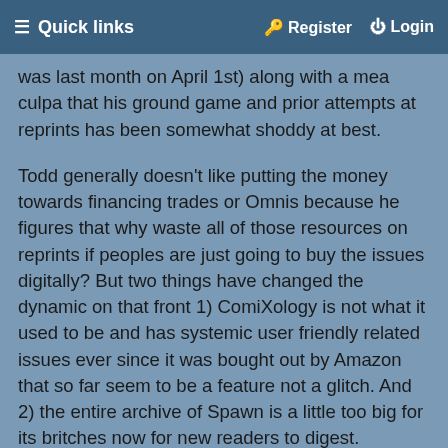≡ Quick links   🔑 Register   ⏻ Login
was last month on April 1st) along with a mea culpa that his ground game and prior attempts at reprints has been somewhat shoddy at best.
Todd generally doesn't like putting the money towards financing trades or Omnis because he figures that why waste all of those resources on reprints if peoples are just going to buy the issues digitally? But two things have changed the dynamic on that front 1) ComiXology is not what it used to be and has systemic user friendly related issues ever since it was bought out by Amazon that so far seem to be a feature not a glitch. And 2) the entire archive of Spawn is a little too big for its britches now for new readers to digest.
When you are 300+ issues deep into an ongoing title, the best and most accessible place to read those comics is still in